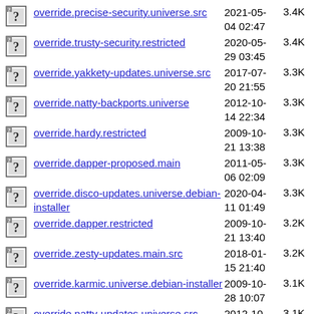override.precise-security.universe.src  2021-05-04 02:47  3.4K
override.trusty-security.restricted  2020-05-29 03:45  3.4K
override.yakkety-updates.universe.src  2017-07-20 21:55  3.3K
override.natty-backports.universe  2012-10-14 22:34  3.3K
override.hardy.restricted  2009-10-21 13:38  3.3K
override.dapper-proposed.main  2011-05-06 02:09  3.3K
override.disco-updates.universe.debian-installer  2020-04-11 01:49  3.3K
override.dapper.restricted  2009-10-21 13:40  3.2K
override.zesty-updates.main.src  2018-01-15 21:40  3.2K
override.karmic.universe.debian-installer  2009-10-28 10:07  3.1K
override.natty-updates.universe.src  2012-10-26 18:38  3.1K